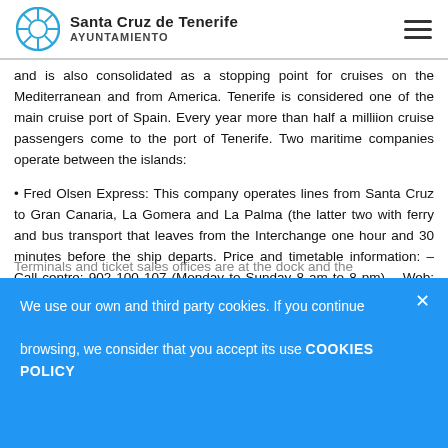Santa Cruz de Tenerife AYUNTAMIENTO
and is also consolidated as a stopping point for cruises on the Mediterranean and from America. Tenerife is considered one of the main cruise port of Spain. Every year more than half a milliion cruise passengers come to the port of Tenerife. Two maritime companies operate between the islands:
• Fred Olsen Express: This company operates lines from Santa Cruz to Gran Canaria, La Gomera and La Palma (the latter two with ferry and bus transport that leaves from the Interchange one hour and 30 minutes before the ship departs. Price and timetable information: – Call centre: 902 100 107 (Monday to Sunday 8 am to 8 pm) – Web: www.fredolsen.es
Terminals and ticket sales offices are at the dock and the
We use our own and third party cookies. If you continue browsing, we consider that you accept its use COOKIES POLICY